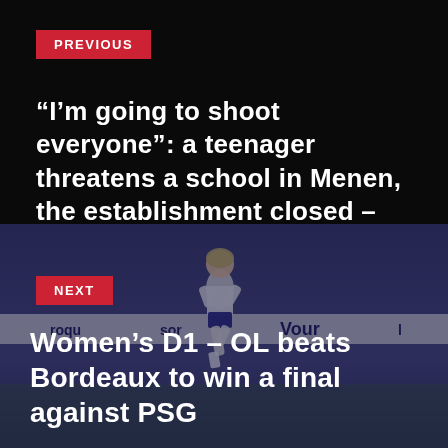PREVIOUS
“I’m going to shoot everyone”: a teenager threatens a school in Menen, the establishment closed – 7sur7
[Figure (photo): A female soccer player running on a pitch, stadium background with advertising boards visible]
NEXT
Women’s D1 – OL beats Bordeaux to win a final against PSG